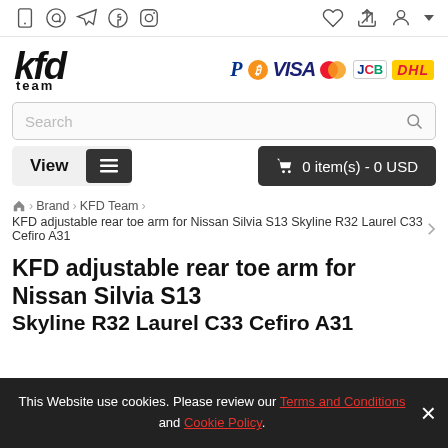Top navigation bar with social/share icons
[Figure (logo): KFD Team logo with payment method logos: PayPal, Bitcoin, VISA, Mastercard, JCB, DHL]
Search
View  ≡  🛒 0 item(s) - 0 USD
Home > Brand > KFD Team > KFD adjustable rear toe arm for Nissan Silvia S13 Skyline R32 Laurel C33 Cefiro A31
KFD adjustable rear toe arm for Nissan Silvia S13 Skyline R32 Laurel C33 Cefiro A31
This Website use cookies. Please review our Terms and Conditions and Cookie Policy.